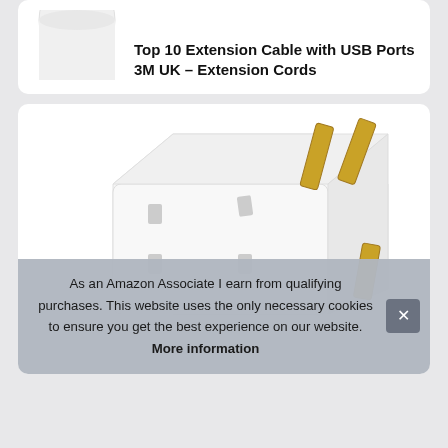[Figure (photo): White power adapter/charger product image, partially visible at top]
Top 10 Extension Cable with USB Ports 3M UK – Extension Cords
[Figure (photo): White UK 3-pin multi-socket adapter with gold/brass pins on white background]
As an Amazon Associate I earn from qualifying purchases. This website uses the only necessary cookies to ensure you get the best experience on our website. More information